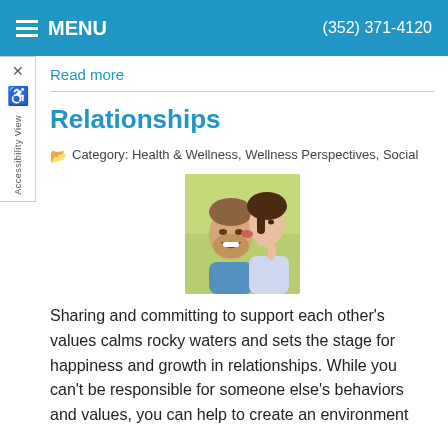MENU   (352) 371-4120
Read more
Relationships
Category: Health & Wellness, Wellness Perspectives, Social
[Figure (photo): A couple smiling, a woman kissing a man on the cheek outdoors]
Sharing and committing to support each other's values calms rocky waters and sets the stage for happiness and growth in relationships. While you can't be responsible for someone else's behaviors and values, you can help to create an environment